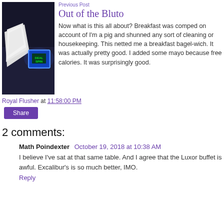[Figure (photo): Photo of a glowing blue 'DEAL SPIN' device on a dark surface next to a folded white cloth or napkin]
Previous Post
Out of the Bluto
Now what is this all about? Breakfast was comped on account of I'm a pig and shunned any sort of cleaning or housekeeping. This netted me a breakfast bagel-wich. It was actually pretty good. I added some mayo because free calories. It was surprisingly good.
Royal Flusher at 11:58:00 PM
Share
2 comments:
Math Poindexter  October 19, 2018 at 10:38 AM
I believe I've sat at that same table. And I agree that the Luxor buffet is awful. Excalibur's is so much better, IMO.
Reply